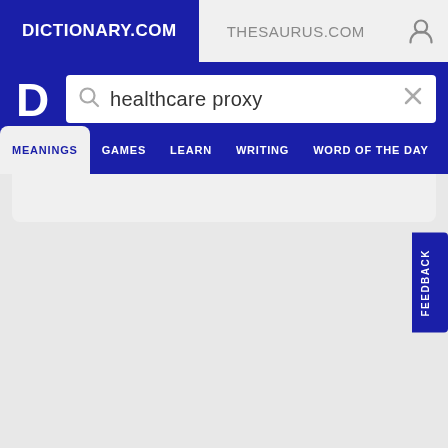DICTIONARY.COM | THESAURUS.COM
[Figure (screenshot): Search bar with query 'healthcare proxy' on dictionary.com]
FEEDBACK